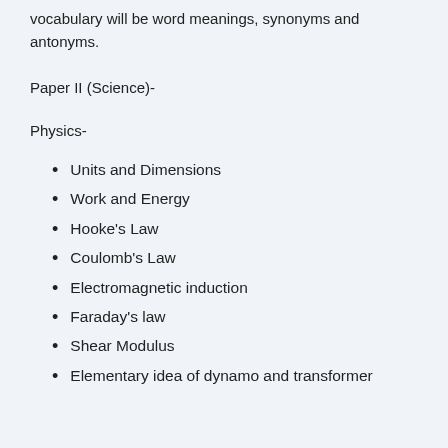vocabulary will be word meanings, synonyms and antonyms.
Paper II (Science)-
Physics-
Units and Dimensions
Work and Energy
Hooke's Law
Coulomb's Law
Electromagnetic induction
Faraday's law
Shear Modulus
Elementary idea of dynamo and transformer